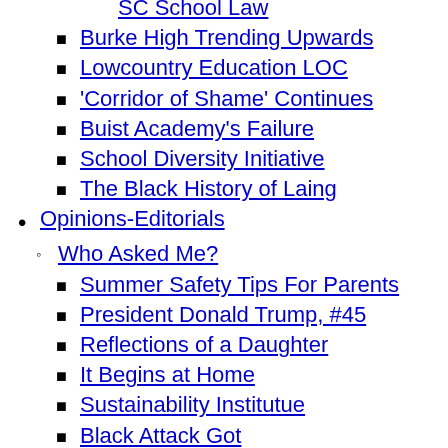SC School Law
Burke High Trending Upwards
Lowcountry Education LOC
'Corridor of Shame' Continues
Buist Academy's Failure
School Diversity Initiative
The Black History of Laing
Opinions-Editorials
Who Asked Me?
Summer Safety Tips For Parents
President Donald Trump, #45
Reflections of a Daughter
It Begins at Home
Sustainability Institutue
Black Attack Got